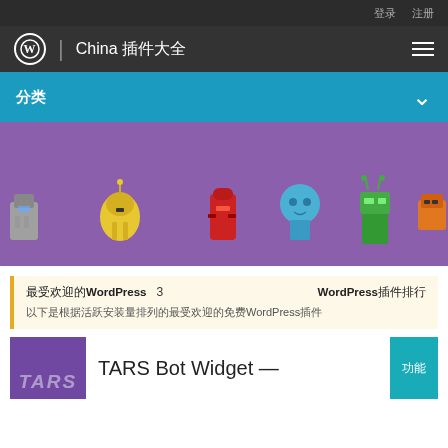登录  注册
China 插件大全
分类  ∨
[Figure (illustration): Purple background hero banner with a row of colorful cartoon robot characters]
最受欢迎的WordPress  3  WordPress插件排行
以下是根据活跃安装量排列的最受欢迎的免费WordPress插件
TARS Bot Widget —
功能